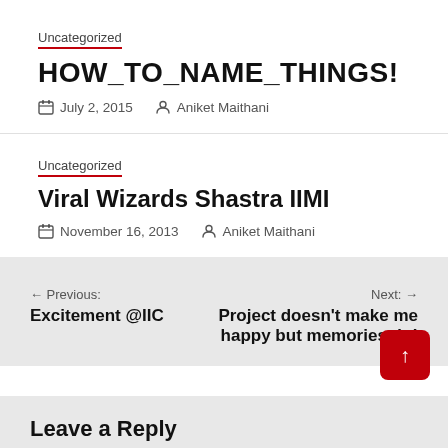Uncategorized
HOW_TO_NAME_THINGS!
July 2, 2015  Aniket Maithani
Uncategorized
Viral Wizards Shastra IIMI
November 16, 2013  Aniket Maithani
← Previous: Excitement @IIC
Next: → Project doesn't make me happy but memories do!
↑
Leave a Reply